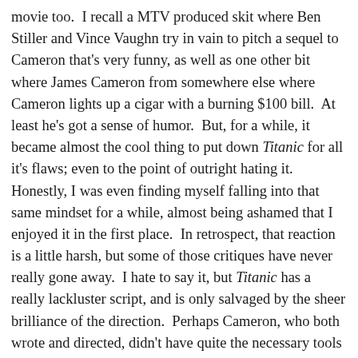movie too.  I recall a MTV produced skit where Ben Stiller and Vince Vaughn try in vain to pitch a sequel to Cameron that's very funny, as well as one other bit where James Cameron from somewhere else where Cameron lights up a cigar with a burning $100 bill.  At least he's got a sense of humor.  But, for a while, it became almost the cool thing to put down Titanic for all it's flaws; even to the point of outright hating it.  Honestly, I was even finding myself falling into that same mindset for a while, almost being ashamed that I enjoyed it in the first place.  In retrospect, that reaction is a little harsh, but some of those critiques have never really gone away.  I hate to say it, but Titanic has a really lackluster script, and is only salvaged by the sheer brilliance of the direction.  Perhaps Cameron, who both wrote and directed, didn't have quite the necessary tools of basic screenwriting to match the intensity of the moments he's trying to convey, but at the same time, I've come to accept this as a part of his film-making style.  He's a man more comfortable in the director's chair, crafting extravagant set pieces that push the boundaries of cinema.  He can't bring that